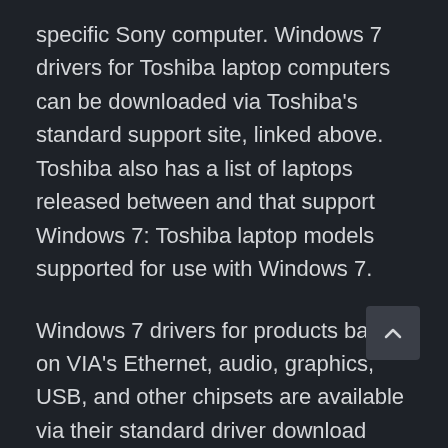specific Sony computer. Windows 7 drivers for Toshiba laptop computers can be downloaded via Toshiba's standard support site, linked above. Toshiba also has a list of laptops released between and that support Windows 7: Toshiba laptop models supported for use with Windows 7.
Windows 7 drivers for products based on VIA's Ethernet, audio, graphics, USB, and other chipsets are available via their standard driver download page, linked above. The Windows 7 drivers linked to here are directly from VIA — a chipset manufacturer. A VIA chipset may be a part of your motherboard or other hardware but VIA only created the chip, not the complete device.